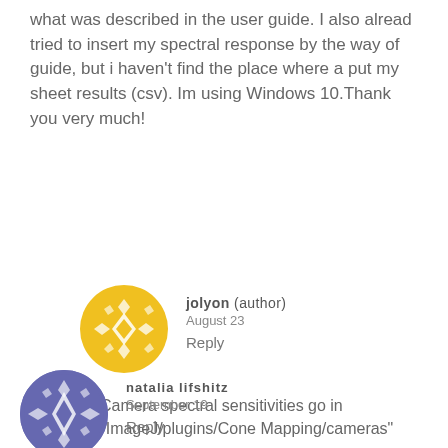what was described in the user guide. I also alread tried to insert my spectral response by the way of guide, but i haven't find the place where a put my sheet results (csv). Im using Windows 10.Thank you very much!
[Figure (illustration): Yellow decorative circular avatar icon with geometric diamond/cross pattern for user jolyon]
jolyon (author)
August 23
Reply
Camera spectral sensitivities go in "ImageJ/plugins/Cone Mapping/cameras"
[Figure (illustration): Purple/blue decorative circular avatar icon with geometric diamond/cross pattern for user natalia lifshitz]
natalia lifshitz
September 19
Reply